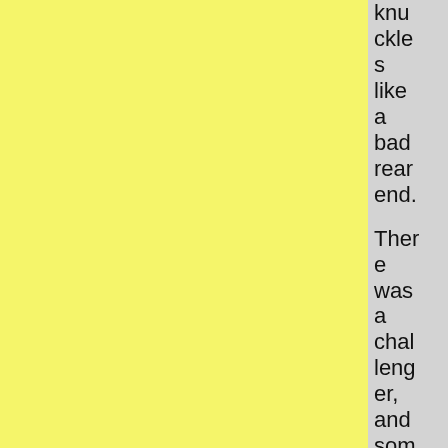knuckles like a bad rear end.

There was a challenger, and somebody had stepped